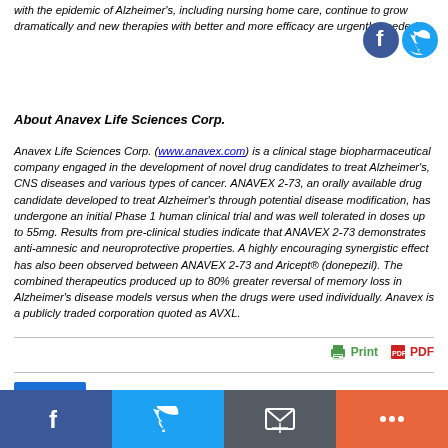with the epidemic of Alzheimer's, including nursing home care, continue to grow dramatically and new therapies with better and more efficacy are urgently needed.
[Figure (logo): Facebook and Twitter social sharing icons (circular) in top right corner]
About Anavex Life Sciences Corp.
Anavex Life Sciences Corp. (www.anavex.com) is a clinical stage biopharmaceutical company engaged in the development of novel drug candidates to treat Alzheimer's, CNS diseases and various types of cancer. ANAVEX 2-73, an orally available drug candidate developed to treat Alzheimer's through potential disease modification, has undergone an initial Phase 1 human clinical trial and was well tolerated in doses up to 55mg. Results from pre-clinical studies indicate that ANAVEX 2-73 demonstrates anti-amnesic and neuroprotective properties. A highly encouraging synergistic effect has also been observed between ANAVEX 2-73 and Aricept® (donepezil). The combined therapeutics produced up to 80% greater reversal of memory loss in Alzheimer's disease models versus when the drugs were used individually. Anavex is a publicly traded corporation quoted as AVXL.
Print  PDF
Share
[Figure (infographic): Bottom social sharing bar with Facebook, Twitter, Email, and More buttons]